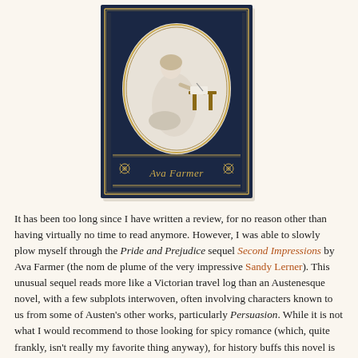[Figure (illustration): Book cover of 'Second Impressions' by Ava Farmer. Dark navy blue cover with gold border detailing. Central oval vignette showing a woman in Regency-era dress sitting at a writing desk. Author's name 'Ava Farmer' written in cursive script at the bottom, flanked by decorative floral motifs.]
It has been too long since I have written a review, for no reason other than having virtually no time to read anymore. However, I was able to slowly plow myself through the Pride and Prejudice sequel Second Impressions by Ava Farmer (the nom de plume of the very impressive Sandy Lerner). This unusual sequel reads more like a Victorian travel log than an Austenesque novel, with a few subplots interwoven, often involving characters known to us from some of Austen's other works, particularly Persuasion. While it is not what I would recommend to those looking for spicy romance (which, quite frankly, isn't really my favorite thing anyway), for history buffs this novel is remarkable. Ms. Farmer capturing the